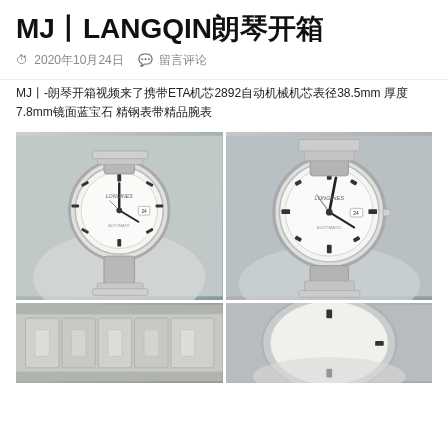MJ丨LANGQIN朗琴开箱
⏱ 2020年10月24日  💬 留言评论
MJ丨-朗琴开箱视频来了携带ETA机芯2892自动机械机芯表径38.5mm 厚度7.8mm镜面蓝宝石 精钢表带精品腕表
[Figure (photo): Photo of a Longines-style silver watch with white dial held in a gloved hand, front view]
[Figure (photo): Photo of a Longines-style silver watch with white dial held in a gloved hand, closer front view]
[Figure (photo): Partial photo of silver watch bracelet and case, cropped bottom view]
[Figure (photo): Partial photo of silver watch held in hand, cropped bottom view]